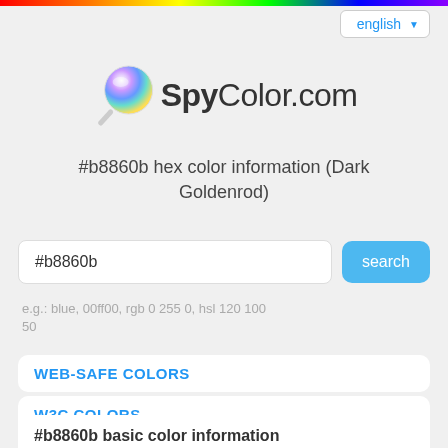[Figure (other): Rainbow gradient bar at top of page]
english ▼
[Figure (logo): SpyColor.com logo with colorful magnifying glass icon]
#b8860b hex color information (Dark Goldenrod)
#b8860b
search
e.g.: blue, 00ff00, rgb 0 255 0, hsl 120 100 50
WEB-SAFE COLORS
W3C COLORS
COLOR INDEX
#b8860b basic color information